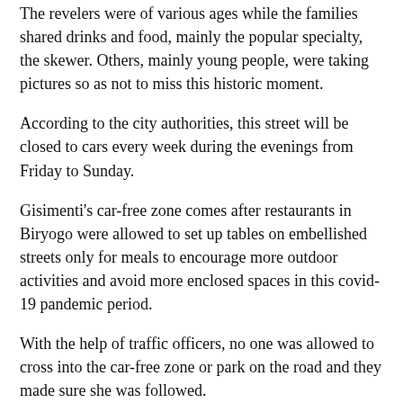The revelers were of various ages while the families shared drinks and food, mainly the popular specialty, the skewer. Others, mainly young people, were taking pictures so as not to miss this historic moment.
According to the city authorities, this street will be closed to cars every week during the evenings from Friday to Sunday.
Gisimenti's car-free zone comes after restaurants in Biryogo were allowed to set up tables on embellished streets only for meals to encourage more outdoor activities and avoid more enclosed spaces in this covid-19 pandemic period.
With the help of traffic officers, no one was allowed to cross into the car-free zone or park on the road and they made sure she was followed.
Dana Manzi, a 24-year-old waiting for her friends, said the car-free zone came at the right time.